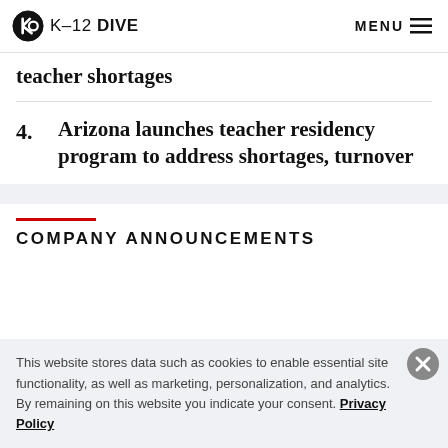K-12 DIVE | MENU
teacher shortages
4. Arizona launches teacher residency program to address shortages, turnover
COMPANY ANNOUNCEMENTS
This website stores data such as cookies to enable essential site functionality, as well as marketing, personalization, and analytics. By remaining on this website you indicate your consent. Privacy Policy